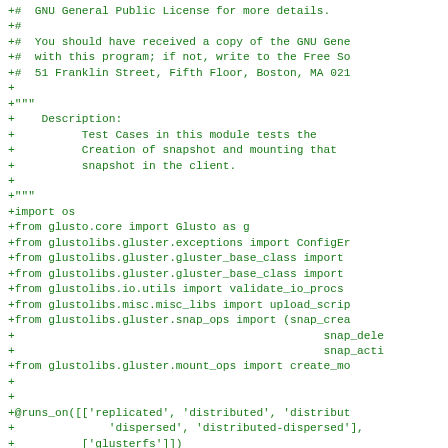+#  GNU General Public License for more details.
+#
+#  You should have received a copy of the GNU Gene
+#  with this program; if not, write to the Free So
+#  51 Franklin Street, Fifth Floor, Boston, MA 021
+
+"""
+    Description:
+          Test Cases in this module tests the
+          Creation of snapshot and mounting that
+          snapshot in the client.
+
+"""
+import os
+from glusto.core import Glusto as g
+from glustolibs.gluster.exceptions import ConfigEr
+from glustolibs.gluster.gluster_base_class import
+from glustolibs.gluster.gluster_base_class import
+from glustolibs.io.utils import validate_io_procs
+from glustolibs.misc.misc_libs import upload_scrip
+from glustolibs.gluster.snap_ops import (snap_crea
+                                              snap_dele
+                                              snap_acti
+from glustolibs.gluster.mount_ops import create_mo
+
+
+@runs_on([['replicated', 'distributed', 'distribut
+              'dispersed', 'distributed-dispersed'],
+          ['glusterfs']])
+class TestSnapMountSnapshot(GlusterBaseClass):